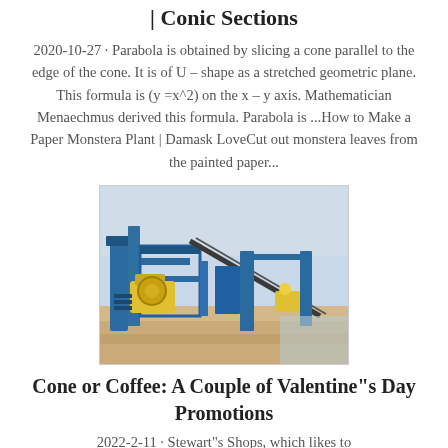| Conic Sections
2020-10-27 · Parabola is obtained by slicing a cone parallel to the edge of the cone. It is of U – shape as a stretched geometric plane. This formula is (y =x^2) on the x – y axis. Mathematician Menaechmus derived this formula. Parabola is ...How to Make a Paper Monstera Plant | Damask LoveCut out monstera leaves from the painted paper...
[Figure (photo): Industrial machinery with blue metal framework, conveyor belts, and yellow equipment components on a sandy construction site under a hazy sky.]
Cone or Coffee: A Couple of Valentine"s Day Promotions
2022-2-11 · Stewart"s Shops, which likes to